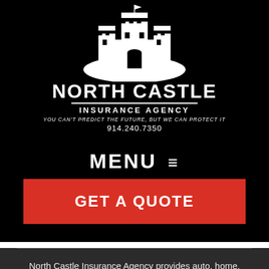[Figure (logo): North Castle Insurance Agency logo: white castle/fortress illustration above the brand name]
NORTH CASTLE
INSURANCE AGENCY
YOU CAN'T PREDICT THE FUTURE, BUT WE CAN PROTECT IT
914.240.7350
MENU ≡
GET A QUOTE
North Castle Insurance Agency provides auto, home, business, builders risk, and umbrella coverage insurance to all of New York, including Chappaqua, Mount Kisco, and North Castle, Rosedale,